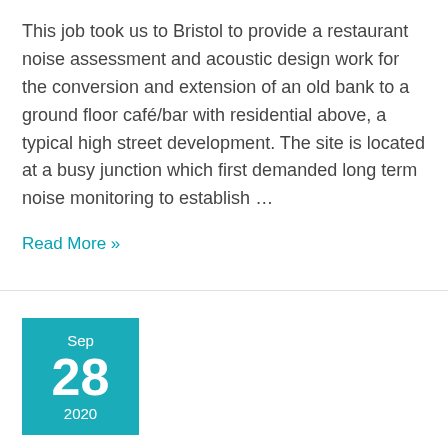This job took us to Bristol to provide a restaurant noise assessment and acoustic design work for the conversion and extension of an old bank to a ground floor café/bar with residential above, a typical high street development. The site is located at a busy junction which first demanded long term noise monitoring to establish …
Read More »
[Figure (other): Teal date box showing Sep 28 2020]